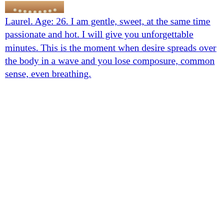[Figure (photo): Partial photo of a woman with pearl necklace, cropped showing neck/shoulders/lower face area, warm skin tones]
Laurel. Age: 26. I am gentle, sweet, at the same time passionate and hot. I will give you unforgettable minutes. This is the moment when desire spreads over the body in a wave and you lose composure, common sense, even breathing.